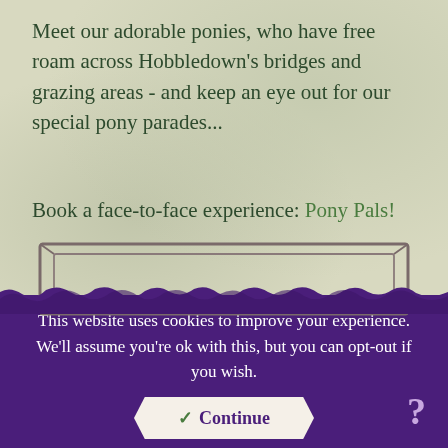Meet our adorable ponies, who have free roam across Hobbledown's bridges and grazing areas - and keep an eye out for our special pony parades...
Book a face-to-face experience: Pony Pals!
[Figure (illustration): A hand-drawn sketch of a rectangular frame/border on a parchment-textured background, resembling a rustic wooden or rope frame.]
This website uses cookies to improve your experience. We'll assume you're ok with this, but you can opt-out if you wish.
✓ Continue